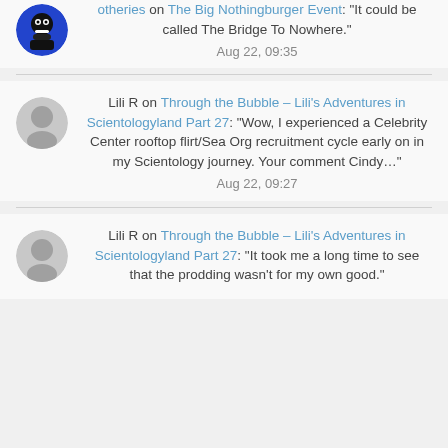otheries on The Big Nothingburger Event: "It could be called The Bridge To Nowhere." Aug 22, 09:35
Lili R on Through the Bubble – Lili's Adventures in Scientologyland Part 27: "Wow, I experienced a Celebrity Center rooftop flirt/Sea Org recruitment cycle early on in my Scientology journey. Your comment Cindy…" Aug 22, 09:27
Lili R on Through the Bubble – Lili's Adventures in Scientologyland Part 27: "It took me a long time to see that the prodding wasn't for my own good."